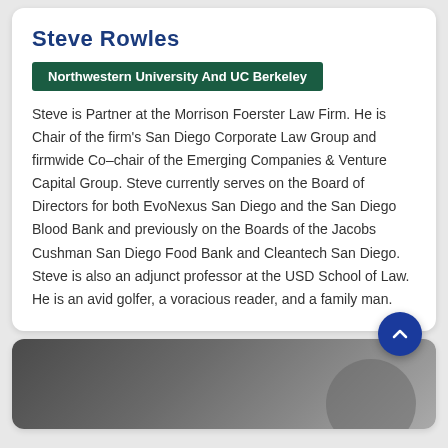Steve Rowles
Northwestern University And UC Berkeley
Steve is Partner at the Morrison Foerster Law Firm. He is Chair of the firm's San Diego Corporate Law Group and firmwide Co–chair of the Emerging Companies & Venture Capital Group. Steve currently serves on the Board of Directors for both EvoNexus San Diego and the San Diego Blood Bank and previously on the Boards of the Jacobs Cushman San Diego Food Bank and Cleantech San Diego. Steve is also an adjunct professor at the USD School of Law. He is an avid golfer, a voracious reader, and a family man.
[Figure (photo): Dark grey/charcoal background image at the bottom of the page, partially visible, with a circular decorative element on the right side.]